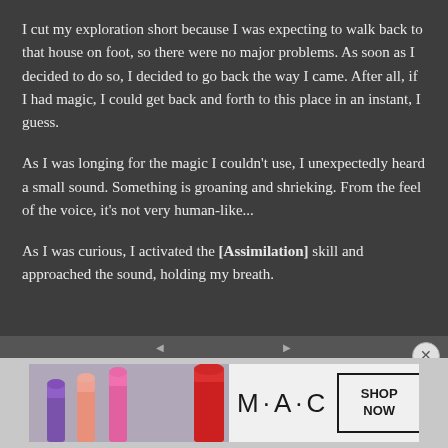I cut my exploration short because I was expecting to walk back to that house on foot, so there were no major problems. As soon as I decided to do so, I decided to go back the way I came. After all, if I had magic, I could get back and forth to this place in an instant, I guess.
As I was longing for the magic I couldn't use, I unexpectedly heard a small sound. Something is groaning and shrieking. From the feel of the voice, it's not very human-like...
As I was curious, I activated the [Assimilation] skill and approached the sound, holding my breath.
[Figure (photo): MAC cosmetics advertisement showing colorful lipsticks (purple, pink, red) with MAC logo and SHOP NOW button]